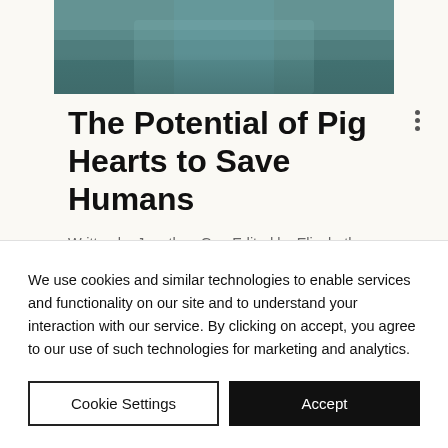[Figure (photo): Top portion of a medical/surgical image showing someone in teal scrubs, cropped at the bottom of the frame]
The Potential of Pig Hearts to Save Humans
Written by Jonathan Gao Edited by Elizabeth Badalov Picture this: you lie in a small examination ro...
We use cookies and similar technologies to enable services and functionality on our site and to understand your interaction with our service. By clicking on accept, you agree to our use of such technologies for marketing and analytics.
Cookie Settings
Accept